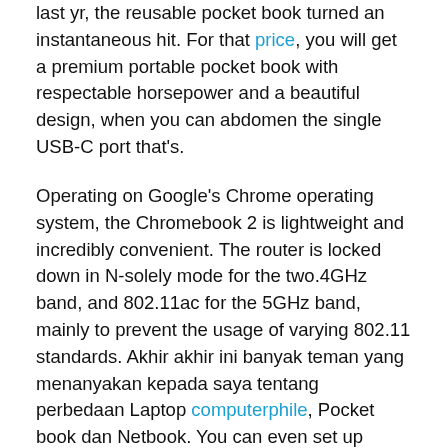last yr, the reusable pocket book turned an instantaneous hit. For that price, you will get a premium portable pocket book with respectable horsepower and a beautiful design, when you can abdomen the single USB-C port that's.
Operating on Google's Chrome operating system, the Chromebook 2 is lightweight and incredibly convenient. The router is locked down in N-solely mode for the two.4GHz band, and 802.11ac for the 5GHz band, mainly to prevent the usage of varying 802.11 standards. Akhir akhir ini banyak teman yang menanyakan kepada saya tentang perbedaan Laptop computerphile, Pocket book dan Netbook. You can even set up Pocket book on your home pc and send lessons on to your classroom's SENSIBLE Board.
Lenovo bought 2.5 million PCs in China in January-March, according to IDC, and company knowledge showed the common promoting value across its products rose 1.5 percent from the previous quarter to $545. Based mostly computer keyboard on 22 years of training expertise, Pocket